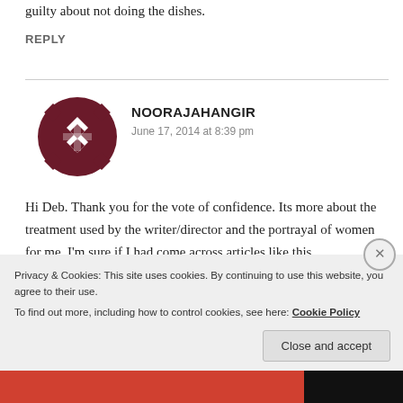guilty about not doing the dishes.
REPLY
[Figure (illustration): Circular avatar with dark maroon/burgundy geometric diamond and cross pattern on white background]
NOORAJAHANGIR
June 17, 2014 at 8:39 pm
Hi Deb. Thank you for the vote of confidence. Its more about the treatment used by the writer/director and the portrayal of women for me. I'm sure if I had come across articles like this
Privacy & Cookies: This site uses cookies. By continuing to use this website, you agree to their use.
To find out more, including how to control cookies, see here: Cookie Policy
Close and accept